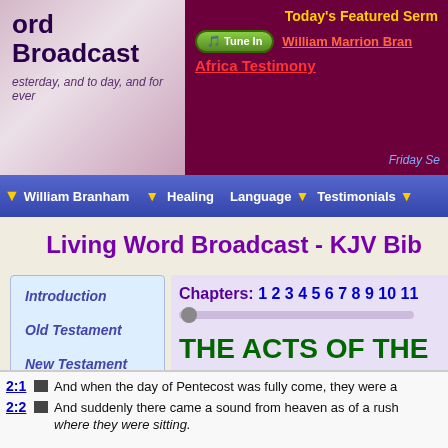Living Word Broadcast - Today's Featured Sermon
ord Broadcast - yesterday, and to day, and for ever
Today's Featured Serm
Tune In  William Marrion Bran... Africa Testimony
Friday Se...
William Branham  Healing  Language  Testimonials
Living Word Broadcast - KJV Bib
Introduction
Old Testament
New Testament
Chapters: 1 2 3 4 5 6 7 8 9 10 11...
THE ACTS OF THE A
Chapter 2
2:1 And when the day of Pentecost was fully come, they were a
2:2 And suddenly there came a sound from heaven as of a rush... where they were sitting.